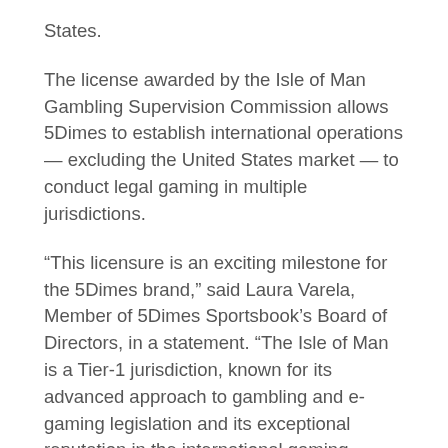States.
The license awarded by the Isle of Man Gambling Supervision Commission allows 5Dimes to establish international operations — excluding the United States market — to conduct legal gaming in multiple jurisdictions.
“This licensure is an exciting milestone for the 5Dimes brand,” said Laura Varela, Member of 5Dimes Sportsbook’s Board of Directors, in a statement. “The Isle of Man is a Tier-1 jurisdiction, known for its advanced approach to gambling and e-gaming legislation and its exceptional reputation in the international gaming community. The Isle of Man sets high standards for its gaming operators and players, and we look forward to upholding the same level of principles and innovation